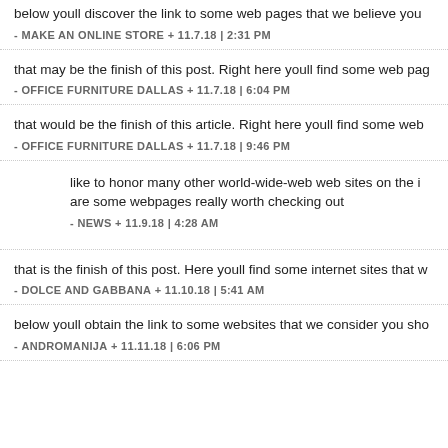below youll discover the link to some web pages that we believe you
- MAKE AN ONLINE STORE + 11.7.18 | 2:31 PM
that may be the finish of this post. Right here youll find some web pag
- OFFICE FURNITURE DALLAS + 11.7.18 | 6:04 PM
that would be the finish of this article. Right here youll find some web
- OFFICE FURNITURE DALLAS + 11.7.18 | 9:46 PM
like to honor many other world-wide-web web sites on the i are some webpages really worth checking out
- NEWS + 11.9.18 | 4:28 AM
that is the finish of this post. Here youll find some internet sites that w
- DOLCE AND GABBANA + 11.10.18 | 5:41 AM
below youll obtain the link to some websites that we consider you sho
- ANDROMANIJA + 11.11.18 | 6:06 PM